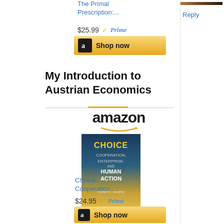The Primal Prescription:...
$25.99  Prime
[Figure (screenshot): Amazon Shop now button with gold background and Amazon 'a' logo icon]
My Introduction to Austrian Economics
[Figure (logo): Amazon logo with orange arrow underneath]
[Figure (photo): Book cover: Choice: Cooperation, Enterprise, and Human Action by Robert P. Murphy]
Choice: Cooperation,...
$24.95  Prime
[Figure (screenshot): Amazon Shop now button with gold background and Amazon 'a' logo icon]
[Figure (photo): Side panel thumbnail image]
Reply